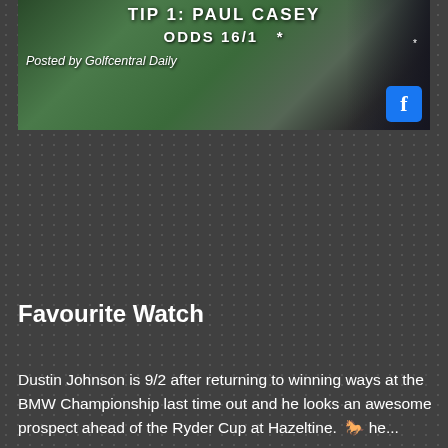[Figure (screenshot): Banner image showing TIP 1: PAUL CASEY, ODDS 16/1, Posted by Golfcentral Daily, with a Facebook icon and golfer silhouette against a green background]
Favourite Watch
Dustin Johnson is 9/2 after returning to winning ways at the BMW Championship last time out and he looks an awesome prospect ahead of the Ryder Cup at Hazeltine. [horse icon] he...